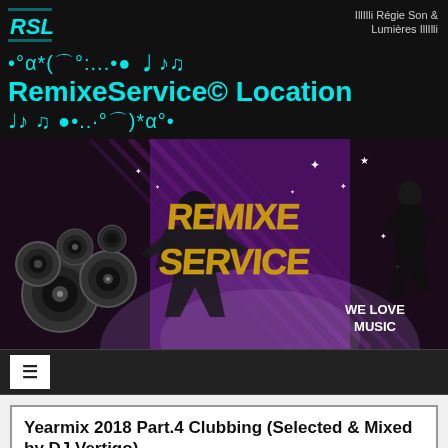[Figure (logo): RSL logo in teal/cyan color top left]
IllIlli Régie Son & Lumières IllIlli
•°α*(⌒°:...•● ♩♪♫
RemixeService© Location
♩♪ ♫ ●•..·°⌒)*α°•
[Figure (illustration): DJ banner with Remixe Service branding, DJ silhouette with speakers on left, gold Remixe Service text in center on purple striped background, dancer silhouette on right with We Love Music text]
≡
Yearmix 2018 Part.4 Clubbing (Selected & Mixed by DJ Vertigo)
SELECT & MIXED BY